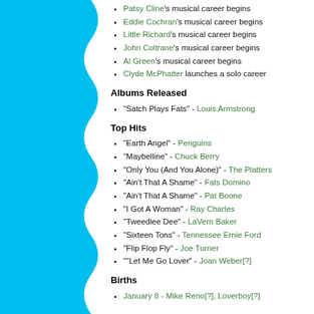Patsy Cline's musical career begins
Eddie Cochran's musical career begins
Little Richard's musical career begins
John Coltrane's musical career begins
Al Green's musical career begins
Clyde McPhatter launches a solo career
Albums Released
"Satch Plays Fats" - Louis Armstrong
Top Hits
"Earth Angel" - Penguins
"Maybelline" - Chuck Berry
"Only You (And You Alone)" - The Platters
"Ain't That A Shame" - Fats Domino
"Ain't That A Shame" - Pat Boone
"I Got A Woman" - Ray Charles
"Tweedlee Dee" - LaVern Baker
"Sixteen Tons" - Tennessee Ernie Ford
"Flip Flop Fly" - Joe Turner
""Let Me Go Lover" - Joan Weber[?]
Births
January 8 - Mike Reno[?], Loverboy[?]